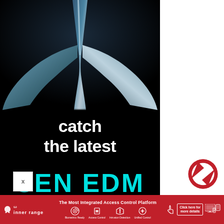[Figure (illustration): Advertisement showing a whale tail emerging from dark water at top, with large white text 'catch the latest' and cyan text 'SEN EDM' on black background, bottom strip showing NEWS + REVIEWS + TENDERS]
catch the latest
SEN EDM
NEWS + REVIEWS + TENDERS
[Figure (logo): Inner Range logo and banner: 'The Most Integrated Access Control Platform' with icons for Biometrics Ready, Access Control, Intrusion Detection, Unified Control, and Click here for more details with device images]
[Figure (other): reCAPTCHA logo (red spinning arrows) on white right-side margin]